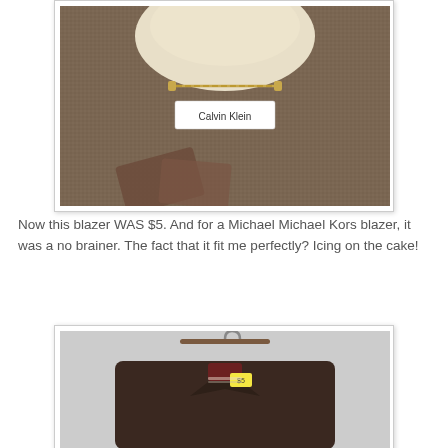[Figure (photo): Interior of a Calvin Klein blazer showing the brand label and a gold chain/clasp detail, with brown/tan herringbone fabric lining]
Now this blazer WAS $5. And for a Michael Michael Kors blazer, it was a no brainer. The fact that it fit me perfectly? Icing on the cake!
[Figure (photo): A dark brown blazer hanging on a wooden hanger, showing the front collar area with a yellow price tag visible]